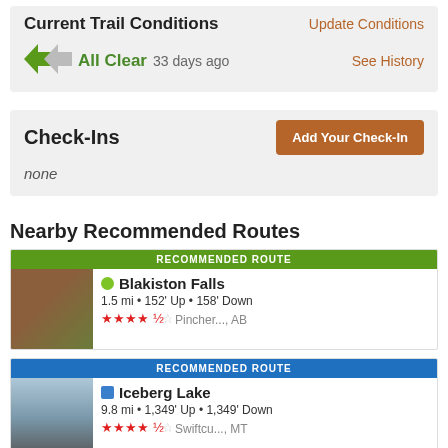Current Trail Conditions
All Clear  33 days ago
Update Conditions
See History
Check-Ins
Add Your Check-In
none
Nearby Recommended Routes
RECOMMENDED ROUTE
Blakiston Falls
1.5 mi • 152' Up • 158' Down
★★★★½  Pincher..., AB
RECOMMENDED ROUTE
Iceberg Lake
9.8 mi • 1,349' Up • 1,349' Down
★★★★½  Swiftcu..., MT